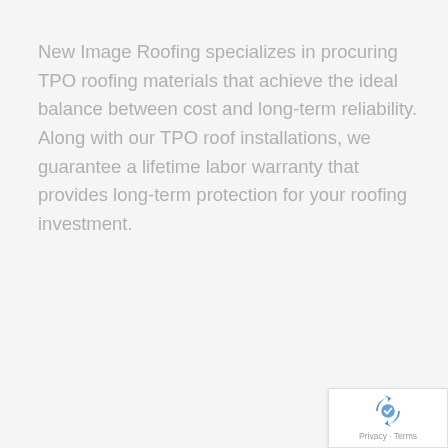New Image Roofing specializes in procuring TPO roofing materials that achieve the ideal balance between cost and long-term reliability. Along with our TPO roof installations, we guarantee a lifetime labor warranty that provides long-term protection for your roofing investment.
[Figure (logo): Google reCAPTCHA badge with recycling-arrow logo icon and Privacy · Terms text]